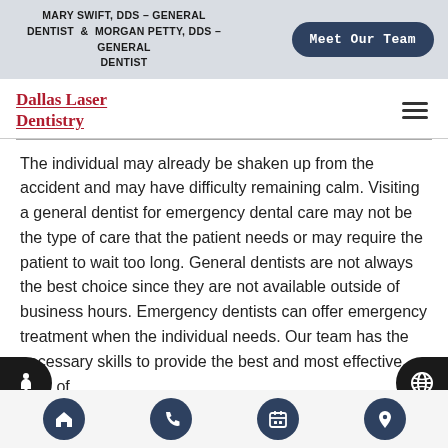MARY SWIFT, DDS – GENERAL DENTIST & MORGAN PETTY, DDS – GENERAL DENTIST | Meet Our Team
Dallas Laser Dentistry
The individual may already be shaken up from the accident and may have difficulty remaining calm. Visiting a general dentist for emergency dental care may not be the type of care that the patient needs or may require the patient to wait too long. General dentists are not always the best choice since they are not available outside of business hours. Emergency dentists can offer emergency treatment when the individual needs. Our team has the necessary skills to provide the best and most effective form of
Home | Phone | Calendar | Location